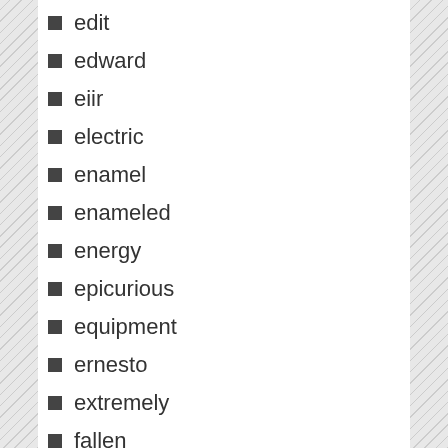edit
edward
eiir
electric
enamel
enameled
energy
epicurious
equipment
ernesto
extremely
fallen
filet
fill-rite
final
fine
finex
floor
folding
ford
four
franco